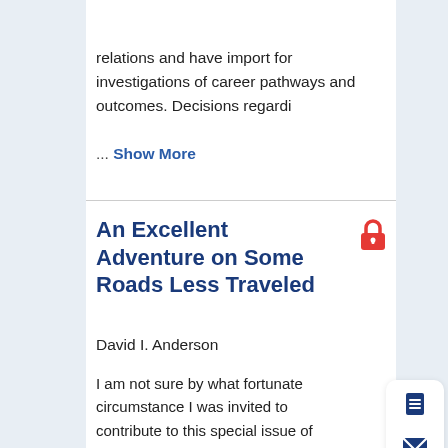experience.
relations and have import for investigations of career pathways and outcomes. Decisions regardi
... Show More
An Excellent Adventure on Some Roads Less Traveled
David I. Anderson
I am not sure by what fortunate circumstance I was invited to contribute to this special issue of Kinesiology Review. However, I am deeply honored to be part of an issue with such esteemed scholars and colleagues. Like many, my introduction